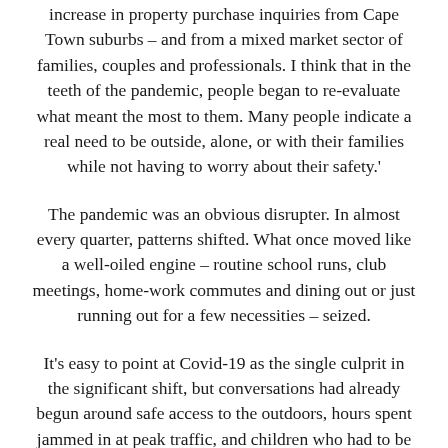increase in property purchase inquiries from Cape Town suburbs – and from a mixed market sector of families, couples and professionals. I think that in the teeth of the pandemic, people began to re-evaluate what meant the most to them. Many people indicate a real need to be outside, alone, or with their families while not having to worry about their safety.'
The pandemic was an obvious disrupter. In almost every quarter, patterns shifted. What once moved like a well-oiled engine – routine school runs, club meetings, home-work commutes and dining out or just running out for a few necessities – seized.
It's easy to point at Covid-19 as the single culprit in the significant shift, but conversations had already begun around safe access to the outdoors, hours spent jammed in at peak traffic, and children who had to be monitored every minutes of the day. The